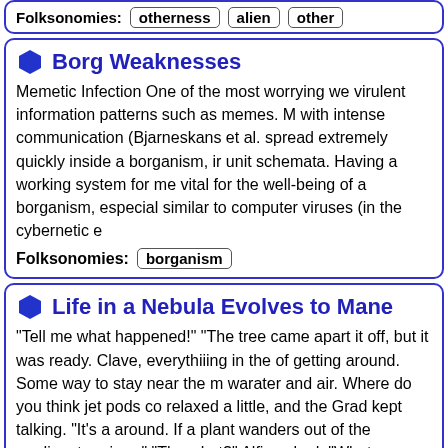Folksonomies: otherness alien other
Borg Weaknesses
Memetic Infection One of the most worrying we virulent information patterns such as memes. M with intense communication (Bjarneskans et al. spread extremely quickly inside a borganism, ir unit schemata. Having a working system for me vital for the well-being of a borganism, especial similar to computer viruses (in the cybernetic e
Folksonomies: borganism
Life in a Nebula Evolves to Mane
"Tell me what happened!" "The tree came apart it off, but it was ready. Clave, everythiiing in the of getting around. Some way to stay near the m warater and air. Where do you think jet pods co relaxed a little, and the Grad kept talking. "It's a around. If a plant wanders out of the median, t region--" "The what?" Alfin asked, "What o...